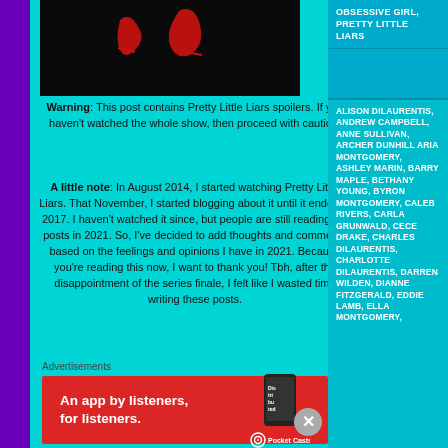[Figure (photo): Dark background image with red cursive-like shapes (scissors or letter) on black background]
Warning: This post contains Pretty Little Liars spoilers. If you haven't watched the whole show, then proceed with caution.
A little note: In August 2014, I started watching Pretty Little Liars. That November, I started blogging about it until it ended in 2017. I haven't watched it since, but people are still reading my posts in 2021. So, I've decided to add thoughts and comments based on the feelings and opinions I have in 2021. Because you're reading this now, I want to thank you! Tbh, after the disappointment of the series finale, I felt like I wasted time writing these posts.
OBSESSIVE GIRL, PRETTY LITTLE LIARS
ALISON DILAURENTIS, ANDREW CAMPBELL, ANNE SULLIVAN, ARCHER DUNHILL ARIA MONTGOMERY, ASHLEY MARIN, BARRY MAPLE, BETHANY YOUNG, BYRON MONTGOMERY, CALEB RIVERS, CARLA GRUNWALD, CECE DRAKE, CHARLES DILAURENTIS, CHARLOTTE DILAURENTIS, DARREN WILDEN, DIANNE FITZGERALD, EDDIE LAMB, ELLA MONTGOMERY,
Advertisements
[Figure (screenshot): Red advertisement banner for Pocket Casts app reading 'An app by listeners, for listeners.' with Pocket Casts logo and phone image with 'Distributed' text]